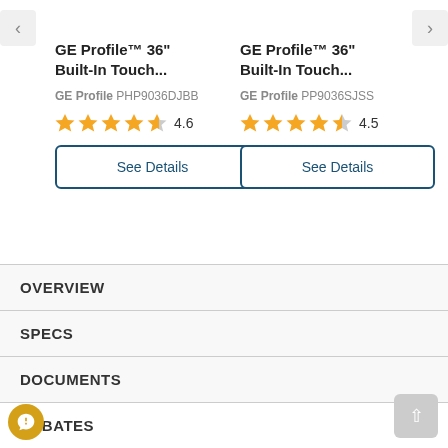GE Profile™ 36" Built-In Touch... | GE Profile PHP9036DJBB | Rating: 4.6 stars
GE Profile™ 36" Built-In Touch... | GE Profile PP9036SJSS | Rating: 4.5 stars
OVERVIEW
SPECS
DOCUMENTS
REBATES